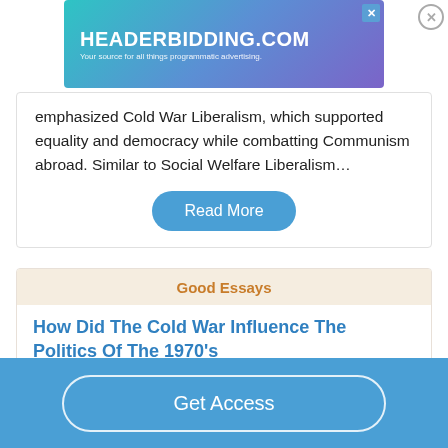[Figure (other): HEADERBIDDING.COM advertisement banner — Your source for all things programmatic advertising.]
emphasized Cold War Liberalism, which supported equality and democracy while combatting Communism abroad. Similar to Social Welfare Liberalism…
Read More
Good Essays
How Did The Cold War Influence The Politics Of The 1970's
865 Words
Get Access